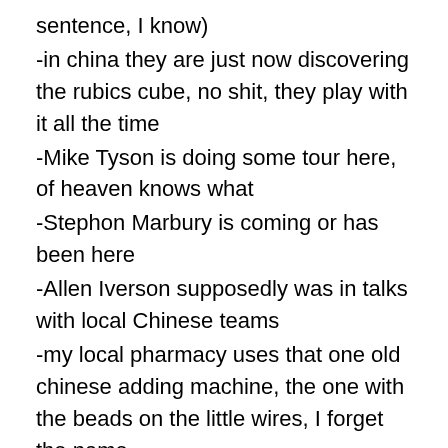sentence, I know)
-in china they are just now discovering the rubics cube, no shit, they play with it all the time
-Mike Tyson is doing some tour here, of heaven knows what
-Stephon Marbury is coming or has been here
-Allen Iverson supposedly was in talks with local Chinese teams
-my local pharmacy uses that one old chinese adding machine, the one with the beads on the little wires, I forget the name
So I began to think about it and it is true. China is kind of an accepting place, they love it if you show them a little love, treat them like a big player on an international scale, its all about face. And china can market any foreign good to the locals, they have a somewhat limited